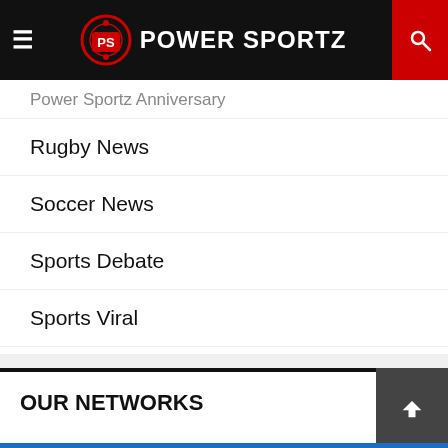PS POWER SPORTZ
Power Sportz Anniversary
Rugby News
Soccer News
Sports Debate
Sports Viral
T20 World Cup
Teams
Tennis
Wrestling
OUR NETWORKS